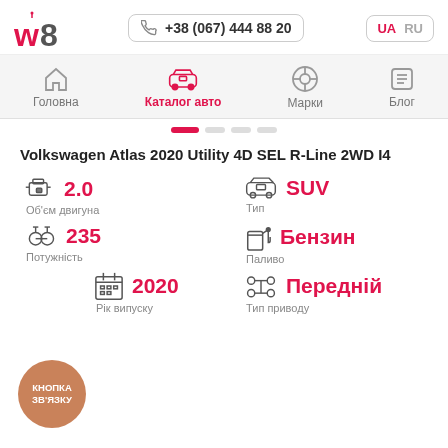w8 | +38 (067) 444 88 20 | UA RU
[Figure (screenshot): Navigation menu with icons: Головна (Home), Каталог авто (Car catalog, active in pink), Марки (Brands, VW logo), Блог (Blog)]
[Figure (other): Slider pagination dots, first dot active (pink)]
Volkswagen Atlas 2020 Utility 4D SEL R-Line 2WD I4
2.0 Об'єм двигуна
SUV Тип
235 Потужність
Бензин Паливо
2020 Рік випуску
Передній Тип приводу
[Figure (other): Orange circular contact button labeled КНОПКА ЗВ'ЯЗКУ]